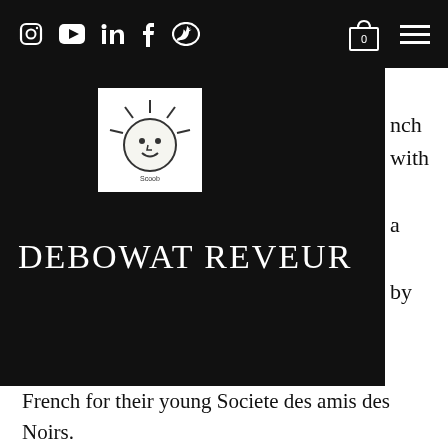Social media icons: Instagram, YouTube, LinkedIn, Facebook, Twitter | Cart (0) | Menu
[Figure (logo): Debowat Reveur logo - illustrated face with sun rays, black and white sketch style]
DEBOWAT REVEUR
French for their young Societe des amis des Noirs.
Saint-Georges was the first to sign up for the Revolutionary Army on August 26, 1789, when the revolution established equal rights for all French citizens. The light cavalry he led was called "Légion Franche de cavalerie des Américains et du Midi." However, it was later referred to as "Légion St-Georges" because of the outstanding performance of Colonel